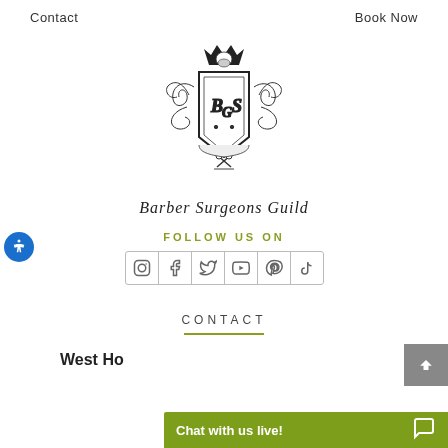Contact    Book Now
[Figure (logo): Barber Surgeons Guild heraldic crest logo with crown, shield lettering BGS, scissors and decorative scrollwork]
Barber Surgeons Guild
FOLLOW US ON
[Figure (other): Social media icons row: Instagram, Facebook, Twitter, YouTube, Pinterest, TikTok]
CONTACT
West Ho